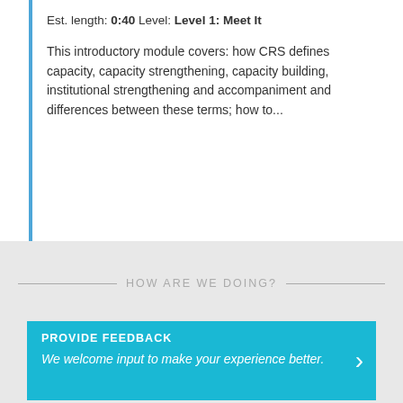Est. length: 0:40 Level: Level 1: Meet It
This introductory module covers: how CRS defines capacity, capacity strengthening, capacity building, institutional strengthening and accompaniment and differences between these terms; how to...
HOW ARE WE DOING?
PROVIDE FEEDBACK
We welcome input to make your experience better.